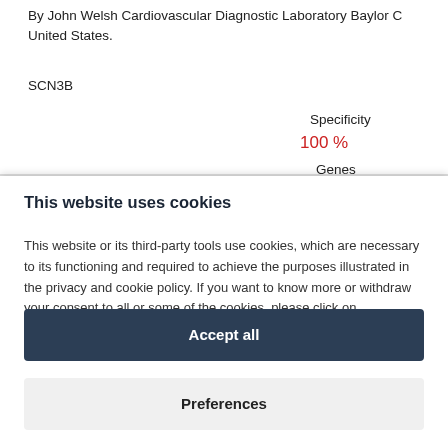By John Welsh Cardiovascular Diagnostic Laboratory Baylor C United States.
SCN3B
Specificity
100 %
Genes
This website uses cookies
This website or its third-party tools use cookies, which are necessary to its functioning and required to achieve the purposes illustrated in the privacy and cookie policy. If you want to know more or withdraw your consent to all or some of the cookies, please click on Preferences.
Accept all
Preferences